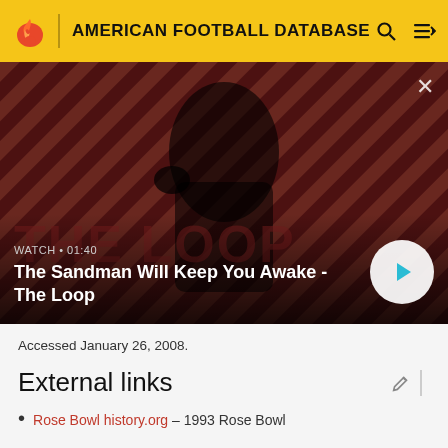AMERICAN FOOTBALL DATABASE
[Figure (screenshot): Video thumbnail showing a dark-clad figure with a raven on shoulder against a red diagonal-striped background. Title overlay: 'The Sandman Will Keep You Awake - The Loop'. Watch duration: 01:40. Play button visible bottom right. Close button top right.]
Accessed January 26, 2008.
External links
Rose Bowl history.org - 1993 Rose Bowl